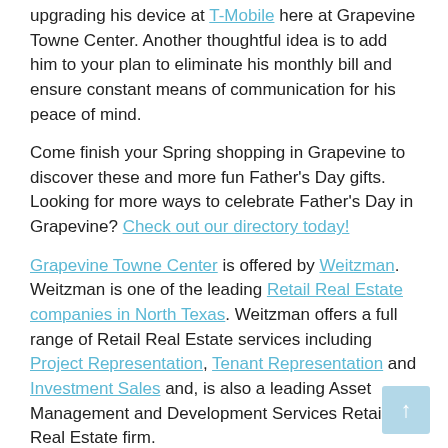upgrading his device at T-Mobile here at Grapevine Towne Center. Another thoughtful idea is to add him to your plan to eliminate his monthly bill and ensure constant means of communication for his peace of mind.
Come finish your Spring shopping in Grapevine to discover these and more fun Father's Day gifts. Looking for more ways to celebrate Father's Day in Grapevine? Check out our directory today!
Grapevine Towne Center is offered by Weitzman. Weitzman is one of the leading Retail Real Estate companies in North Texas. Weitzman offers a full range of Retail Real Estate services including Project Representation, Tenant Representation and Investment Sales and, is also a leading Asset Management and Development Services Retail Real Estate firm.
Photo Sourced from Getty Images: #1216562019